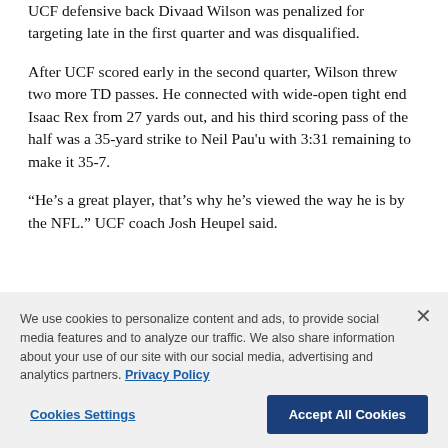UCF defensive back Divaad Wilson was penalized for targeting late in the first quarter and was disqualified.
After UCF scored early in the second quarter, Wilson threw two more TD passes. He connected with wide-open tight end Isaac Rex from 27 yards out, and his third scoring pass of the half was a 35-yard strike to Neil Pau'u with 3:31 remaining to make it 35-7.
“He’s a great player, that’s why he’s viewed the way he is by the NFL.” UCF coach Josh Heupel said.
We use cookies to personalize content and ads, to provide social media features and to analyze our traffic. We also share information about your use of our site with our social media, advertising and analytics partners. Privacy Policy